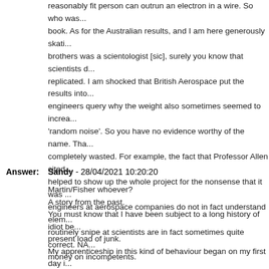reasonably fit person can outrun an electron in a wire. So who was... book. As for the Australian results, and I am here generously skati... brothers was a scientologist [sic], surely you know that scientists d... replicated. I am shocked that British Aerospace put the results into... engineers query why the weight also sometimes seemed to increa... 'random noise'. So you have no evidence worthy of the name. Tha... completely wasted. For example, the fact that Professor Allen cited... helped to show up the whole project for the nonsense that it was ... engineers at aerospace companies do not in fact understand elem... routinely snipe at scientists are in fact sometimes quite correct. NA... money on incompetents.
Answer: Sandy - 28/04/2021 10:20:20
Martin/Fisher whoever?
A story from the past.
You must know that I have been subject to a long history of idiot be... present load of junk.
My apprenticeship in this kind of behaviour began on my first day i... ago,when my device went in there for appraisal
I had occasion to be snarled and screamed at, by someone I thou...
I could not believe that such an unhinged individual could be empl...
He got himself twisted right out of shape
He snarled and slavered, and pranced up and down,and he dema... nothing to do with this disreputable device.
This was duly noted and he went on his way.
That individual some weeks later attempted to kill a technician with... up in the technicians face.
He was attempting to prove the hated Laithwaite wrong.
That cost the university many times more than they funded my pro...
Did they inform you of that cost when you requested to know the s...